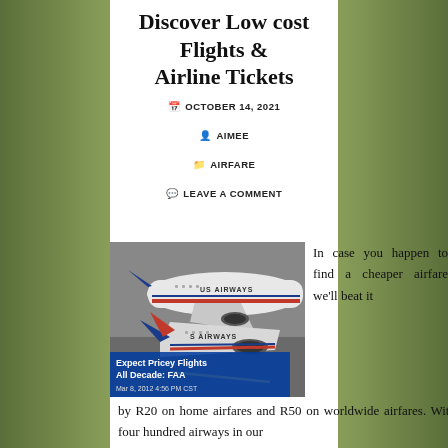Discover Low cost Flights & Airline Tickets
OCTOBER 14, 2021
AIMEE
AIRFARE
LEAVE A COMMENT
[Figure (photo): Two US Airways airplanes on tarmac with overlay text 'Expect Pricey Flights All Decade: FAA' and date 'Mar 8, 2012 4:56 PM CST']
In case you happen to find a cheaper airfare we'll beat it by R20 on home airfares and R50 on worldwide airfares. With four hundred airways in our